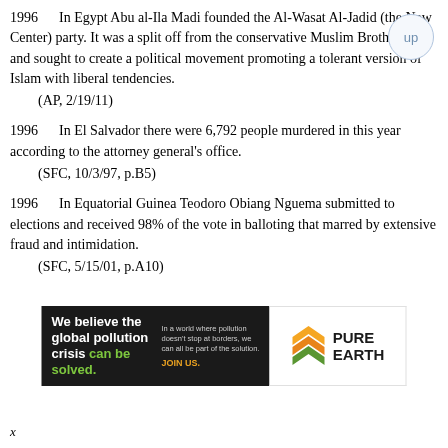1996    In Egypt Abu al-Ila Madi founded the Al-Wasat Al-Jadid (the New Center) party. It was a split off from the conservative Muslim Brotherhood and sought to create a political movement promoting a tolerant version of Islam with liberal tendencies.
    (AP, 2/19/11)
1996    In El Salvador there were 6,792 people murdered in this year according to the attorney general's office.
    (SFC, 10/3/97, p.B5)
1996    In Equatorial Guinea Teodoro Obiang Nguema submitted to elections and received 98% of the vote in balloting that marred by extensive fraud and intimidation.
    (SFC, 5/15/01, p.A10)
[Figure (infographic): Pure Earth advertisement banner. Black left section with bold white text: 'We believe the global pollution crisis can be solved.' with 'can be solved.' in green. Right column in black section has small text: 'In a world where pollution doesn't stop at borders, we can all be part of the solution.' and 'JOIN US.' in orange/yellow. Right white section shows Pure Earth diamond/chevron logo in yellow/orange/green and bold text 'PURE EARTH'.]
x